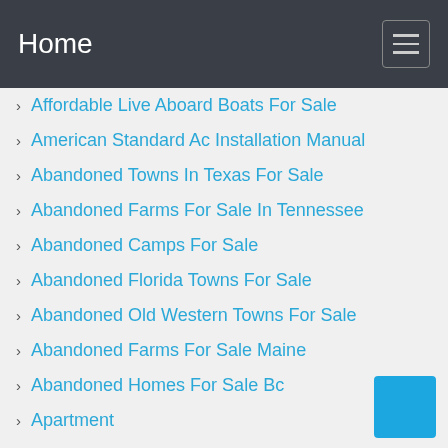Home
Affordable Live Aboard Boats For Sale
American Standard Ac Installation Manual
Abandoned Towns In Texas For Sale
Abandoned Farms For Sale In Tennessee
Abandoned Camps For Sale
Abandoned Florida Towns For Sale
Abandoned Old Western Towns For Sale
Abandoned Farms For Sale Maine
Abandoned Homes For Sale Bc
Apartment
Abandoned Farms For Sale Cheap Nsw
Abandoned Florida Homes For Sale